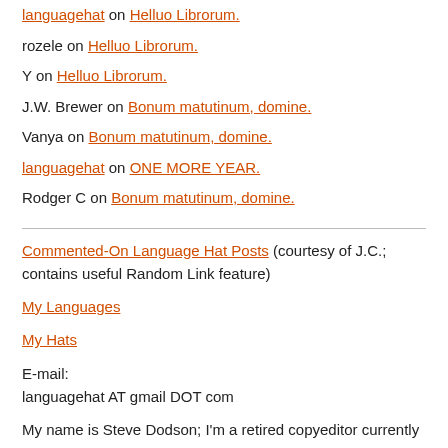languagehat on Helluo Librorum.
rozele on Helluo Librorum.
Y on Helluo Librorum.
J.W. Brewer on Bonum matutinum, domine.
Vanya on Bonum matutinum, domine.
languagehat on ONE MORE YEAR.
Rodger C on Bonum matutinum, domine.
Commented-On Language Hat Posts (courtesy of J.C.; contains useful Random Link feature)
My Languages
My Hats
E-mail:
languagehat AT gmail DOT com
My name is Steve Dodson; I'm a retired copyeditor currently